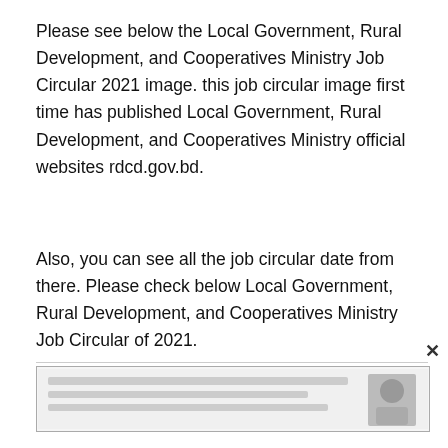Please see below the Local Government, Rural Development, and Cooperatives Ministry Job Circular 2021 image. this job circular image first time has published Local Government, Rural Development, and Cooperatives Ministry official websites rdcd.gov.bd.
Also, you can see all the job circular date from there. Please check below Local Government, Rural Development, and Cooperatives Ministry Job Circular of 2021.
[Figure (other): Partially visible image of a job circular document with text in Bengali script and a portrait photo, shown at the bottom of the page.]